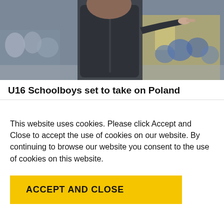[Figure (photo): A person in a dark jacket pointing with their right hand, photographed outdoors with a crowd in the background. The background is blurred.]
U16 Schoolboys set to take on Poland
This website uses cookies. Please click Accept and Close to accept the use of cookies on our website. By continuing to browse our website you consent to the use of cookies on this website.
ACCEPT AND CLOSE